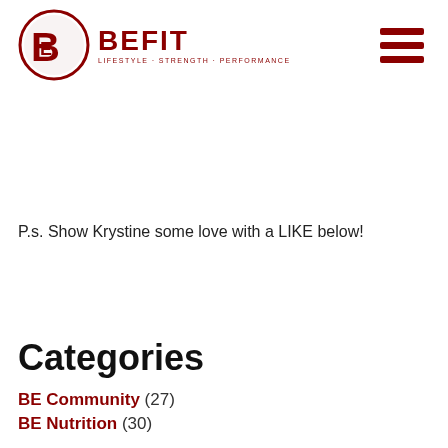BEFIT LIFESTYLE · STRENGTH · PERFORMANCE
P.s. Show Krystine some love with a LIKE below!
Categories
BE Community (27)
BE Nutrition (30)